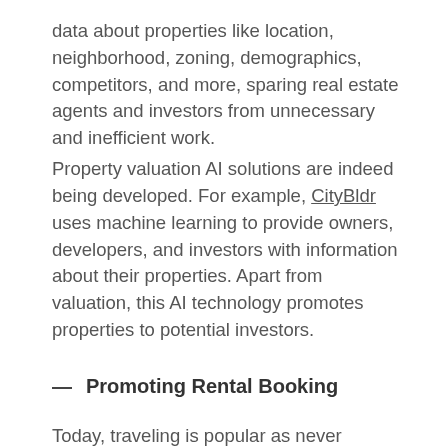data about properties like location, neighborhood, zoning, demographics, competitors, and more, sparing real estate agents and investors from unnecessary and inefficient work.
Property valuation AI solutions are indeed being developed. For example, CityBldr uses machine learning to provide owners, developers, and investors with information about their properties. Apart from valuation, this AI technology promotes properties to potential investors.
— Promoting Rental Booking
Today, traveling is popular as never before. It's probably difficult to find someone who doesn't like traveling. The vacation rental industry is booming! Thanks to AI, online rental services can provide hosts with price tips, increasing the probability of attracting new clients. For